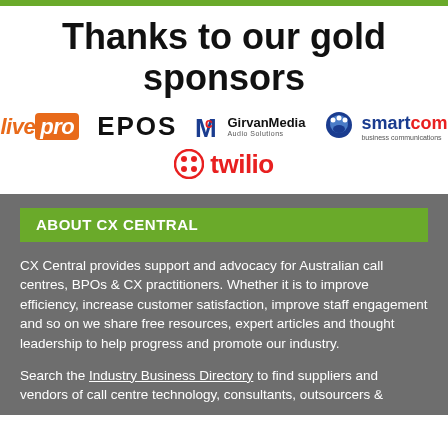Thanks to our gold sponsors
[Figure (logo): Gold sponsor logos: livepro, EPOS, McGirvanMedia Audio Solutions, smartcom business communications, twilio]
ABOUT CX CENTRAL
CX Central provides support and advocacy for Australian call centres, BPOs & CX practitioners. Whether it is to improve efficiency, increase customer satisfaction, improve staff engagement and so on we share free resources, expert articles and thought leadership to help progress and promote our industry.
Search the Industry Business Directory to find suppliers and vendors of call centre technology, consultants, outsourcers &